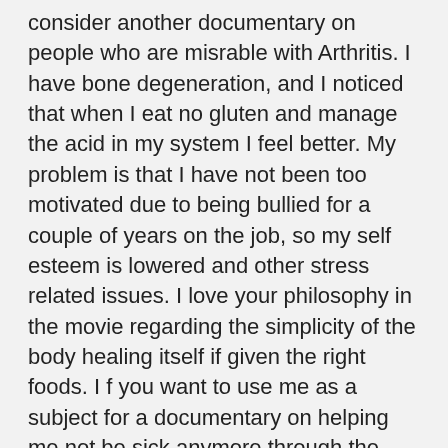consider another documentary on people who are misrable with Arthritis. I have bone degeneration, and I noticed that when I eat no gluten and manage the acid in my system I feel better. My problem is that I have not been too motivated due to being bullied for a couple of years on the job, so my self esteem is lowered and other stress related issues. I love your philosophy in the movie regarding the simplicity of the body healing itself if given the right foods. I f you want to use me as a subject for a documentary on helping me not be sick anymore through the same process–and show it even helps people with horrendous pain in joints I will be happy to sign a waiver and just would love